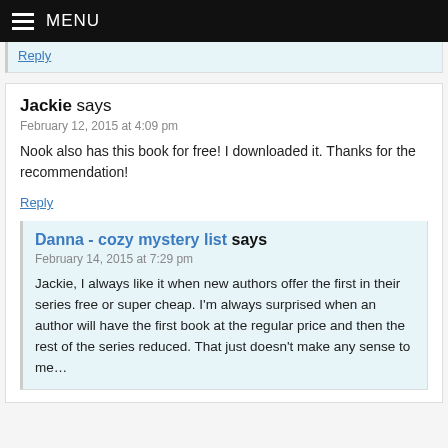MENU
Reply
Jackie says
February 12, 2015 at 4:09 pm
Nook also has this book for free! I downloaded it. Thanks for the recommendation!
Reply
Danna - cozy mystery list says
February 14, 2015 at 7:29 pm
Jackie, I always like it when new authors offer the first in their series free or super cheap. I'm always surprised when an author will have the first book at the regular price and then the rest of the series reduced. That just doesn't make any sense to me…